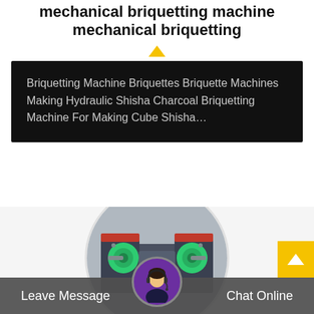mechanical briquetting machine mechanical briquetting
Briquetting Machine Briquettes Briquette Machines Making Hydraulic Shisha Charcoal Briquetting Machine For Making Cube Shisha…
[Figure (photo): Industrial mechanical briquetting machine shown in circular cropped photograph]
[Figure (photo): Customer service avatar - woman with headset]
Leave Message
Chat Online